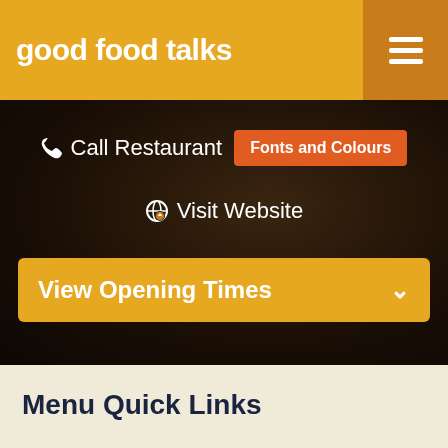good food talks
Call Restaurant
Fonts and Colours
Visit Website
View Opening Times
Menu Quick Links
Children's Menu
Main Menu